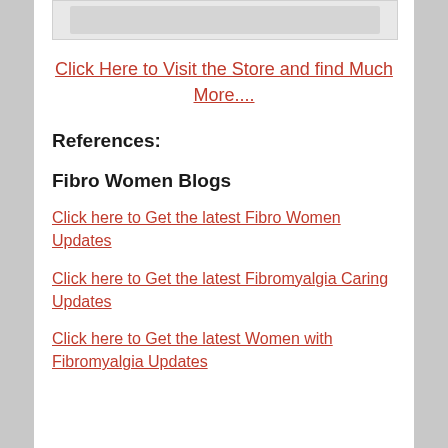[Figure (photo): Partial image of a store or product display at the top of the page]
Click Here to Visit the Store and find Much More....
References:
Fibro Women Blogs
Click here to Get the latest Fibro Women Updates
Click here to Get the latest Fibromyalgia Caring Updates
Click here to Get the latest Women with Fibromyalgia Updates